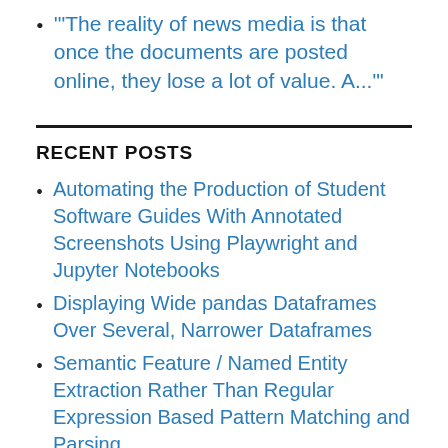'The reality of news media is that once the documents are posted online, they lose a lot of value. A...'
RECENT POSTS
Automating the Production of Student Software Guides With Annotated Screenshots Using Playwright and Jupyter Notebooks
Displaying Wide pandas Dataframes Over Several, Narrower Dataframes
Semantic Feature / Named Entity Extraction Rather Than Regular Expression Based Pattern Matching and Parsing